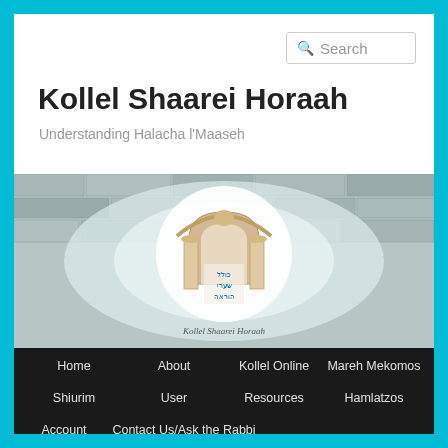Kollel Shaarei Horaah
Understanding Halacha l'Maaseh
[Figure (screenshot): Website banner image showing a stone wall background with a logo of a synagogue gate arch with Hebrew text reading Kollel Shaarei Horaah in the center, and the text 'Kollel Shaarei Horaah' written in cursive beneath the logo.]
Home
About
Kollel Online
Mareh Mekomos
Shiurim
User
Resources
Hamlatzos
Account
Contact Us/Ask the Rabbi